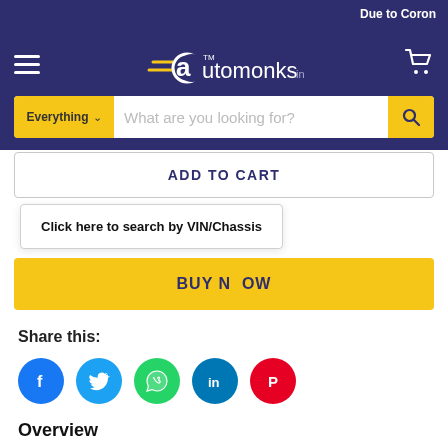Due to Coron
[Figure (logo): Automonks.in logo with hamburger menu and shopping cart icon on dark navy background with search bar]
ADD TO CART
Click here to search by VIN/Chassis
BUY NOW
Share this:
[Figure (infographic): Social media share icons: Facebook, Twitter, WhatsApp, LinkedIn, Pinterest]
Overview